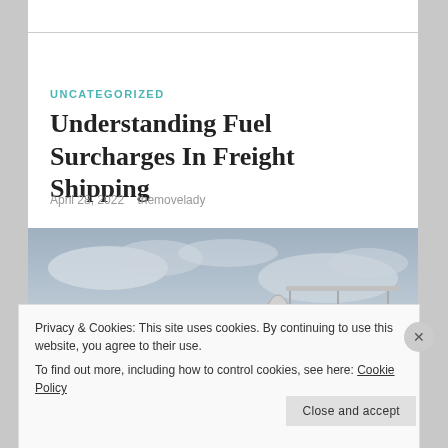UNCATEGORIZED
Understanding Fuel Surcharges In Freight Shipping
April 28, 2022   themovelady
[Figure (photo): A fuel tanker truck with number 28731 on its tank, photographed against a cloudy sky]
Privacy & Cookies: This site uses cookies. By continuing to use this website, you agree to their use.
To find out more, including how to control cookies, see here: Cookie Policy
Close and accept